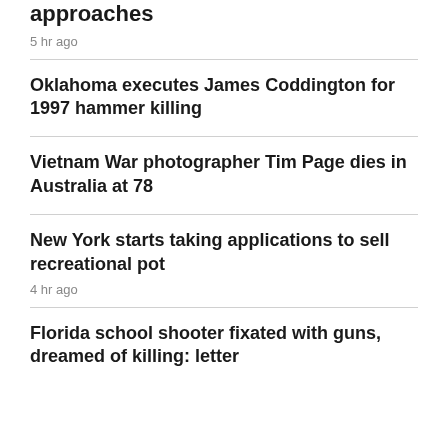approaches
5 hr ago
Oklahoma executes James Coddington for 1997 hammer killing
Vietnam War photographer Tim Page dies in Australia at 78
New York starts taking applications to sell recreational pot
4 hr ago
Florida school shooter fixated with guns, dreamed of killing: letter